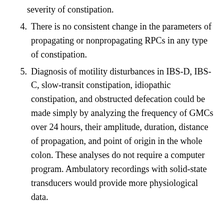severity of constipation.
4. There is no consistent change in the parameters of propagating or nonpropagating RPCs in any type of constipation.
5. Diagnosis of motility disturbances in IBS-D, IBS-C, slow-transit constipation, idiopathic constipation, and obstructed defecation could be made simply by analyzing the frequency of GMCs over 24 hours, their amplitude, duration, distance of propagation, and point of origin in the whole colon. These analyses do not require a computer program. Ambulatory recordings with solid-state transducers would provide more physiological data.